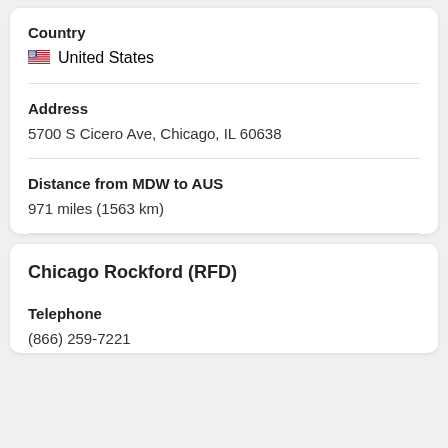Country
United States
Address
5700 S Cicero Ave, Chicago, IL 60638
Distance from MDW to AUS
971 miles (1563 km)
Chicago Rockford (RFD)
Telephone
(866) 259-7221